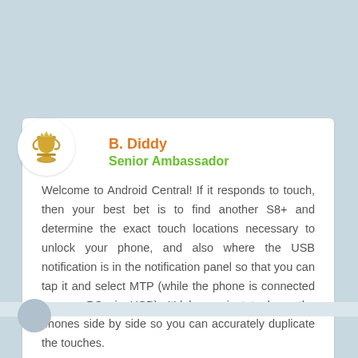B. Diddy
Senior Ambassador
Welcome to Android Central! If it responds to touch, then your best bet is to find another S8+ and determine the exact touch locations necessary to unlock your phone, and also where the USB notification is in the notification panel so that you can tap it and select MTP (while the phone is connected to your PC via USB). It'd be easiest to have the phones side by side so you can accurately duplicate the touches.
12-06-2018 02:13 PM